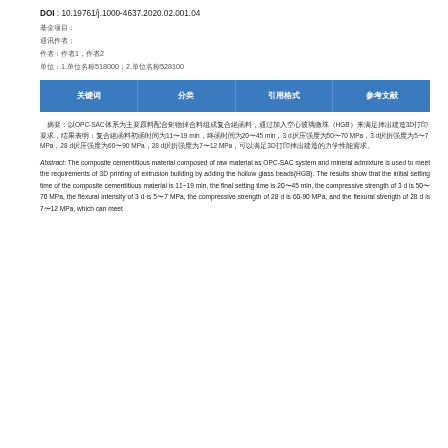DOI : 10.19761/j.1000-4637.2020.02.001.04
基金项目：
通讯作者：
作者：作者1，作者2
单位：1.单位名称518000；2.单位名称528100
| 关键词 | 分类 | 引用格式 | 参考文献 |
| --- | --- | --- | --- |
摘要：以OPC-SAC体系为主要原料配合矿物掺合料组成复合胶凝材料，通过加入空心玻璃微珠(HGB)来满足挤压建造3D打印要求，结果表明：复合胶凝材料初凝时间为11~19 min，终凝时间为20~45 min，3 d抗压强度为50~70 MPa，3 d抗折强度为5~7 MPa，28 d抗压强度为60~90 MPa，28 d抗折强度为7~12 MPa，可以满足3D打印挤出建造的力学性能需求。
Abstract: The composite cementitious material composed of raw material as OPC-SAC system and mineral admixture is used to meet the requirements of 3D printing of extrusion building by adding the hollow glass beads(HGB). The results show that the initial setting time of the composite cementitious material is 11~19 min, the final setting time is 20~45 min, the compressive strength of 3 d is 50~70 MPa, the flexural intensity of 3 d is 5~7 MPa, the compressive strength of 28 d is 60-90 MPa, and the flexural strength of 28 d is 7~12 MPa, which can meet